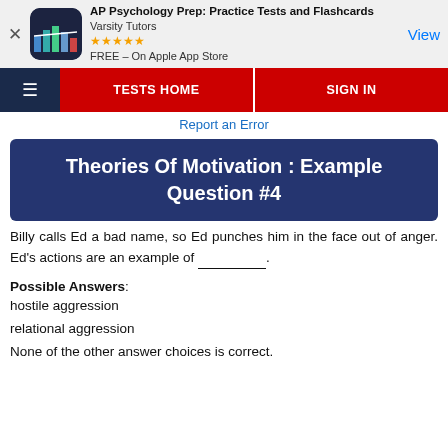[Figure (other): AP Psychology app advertisement banner with icon, star rating, and View button]
TESTS HOME   SIGN IN
Report an Error
Theories Of Motivation : Example Question #4
Billy calls Ed a bad name, so Ed punches him in the face out of anger. Ed's actions are an example of __________.
Possible Answers:
hostile aggression

relational aggression

None of the other answer choices is correct.